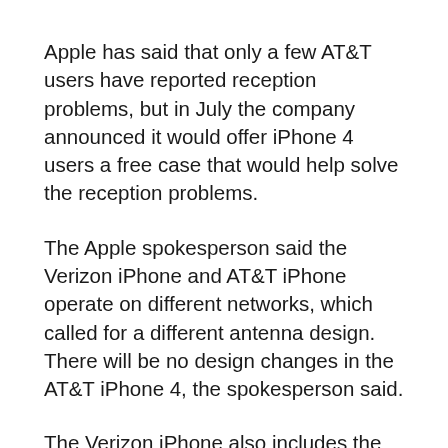Apple has said that only a few AT&T users have reported reception problems, but in July the company announced it would offer iPhone 4 users a free case that would help solve the reception problems.
The Apple spokesperson said the Verizon iPhone and AT&T iPhone operate on different networks, which called for a different antenna design. There will be no design changes in the AT&T iPhone 4, the spokesperson said.
The Verizon iPhone also includes the hotspot feature, which allows up to five Wi-Fi devices to connect to the smart phone. The hotspot feature is not available on AT&T iPhones.
But the Verizon iPhone also has a couple of other differences that might make some users decide to